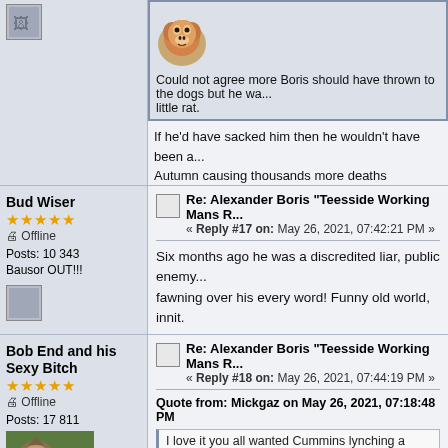[Figure (photo): Small gray avatar thumbnail top left]
[Figure (photo): Circular avatar of a chimpanzee/monkey face]
Could not agree more Boris should have thrown to the dogs but he wa... little rat.
If he'd have sacked him then he wouldn't have been a... Autumn causing thousands more deaths apparently.
Bud Wiser
★★★★★
Offline
Posts: 10 343
Bausor OUT!!!
[Figure (photo): Small gray avatar thumbnail]
Re: Alexander Boris "Teesside Working Mans R... « Reply #17 on: May 26, 2021, 07:42:21 PM »
Six months ago he was a discredited liar, public enemy... fawning over his every word! Funny old world, innit.
https://reclaimthenet.org/wp-content/uploads/2020/09/EgYlu2WXcAAG...
Bob End and his Sexy Bitch
★★★★★
Offline
Posts: 17 811
[Figure (photo): Photo of a German Shepherd dog outdoors]
Re: Alexander Boris "Teesside Working Mans R... « Reply #18 on: May 26, 2021, 07:44:19 PM »
Quote from: Mickgaz on May 26, 2021, 07:18:48 PM
I love it you all wanted Cummins lynching a year ago now you hanging...